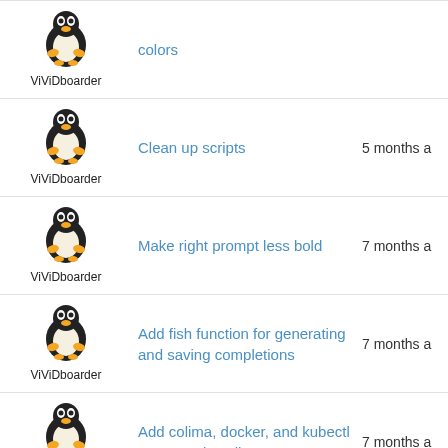| Author | Commit Message | Time |
| --- | --- | --- |
| ViViDboarder | colors |  |
| ViViDboarder | Clean up scripts | 5 months a |
| ViViDboarder | Make right prompt less bold | 7 months a |
| ViViDboarder | Add fish function for generating and saving completions | 7 months a |
| ViViDboarder | Add colima, docker, and kubectl to macos installs | 7 months a |
| ViViDboarder | Add abbreviations for notify-to-slack | 7 months a |
| ViViDboarder | Use env for forwarding envs to a mosh session | 7 months a |